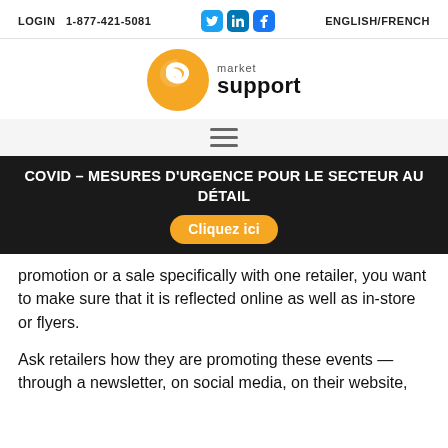LOGIN  1-877-421-5081   ENGLISH/FRENCH
[Figure (logo): Market Support logo with orange S icon and text 'market support']
[Figure (other): Hamburger menu icon with three horizontal lines]
COVID – MESURES D'URGENCE POUR LE SECTEUR AU DÉTAIL  Cliquez ici
promotion or a sale specifically with one retailer, you want to make sure that it is reflected online as well as in-store or flyers.
Ask retailers how they are promoting these events — through a newsletter, on social media, on their website,